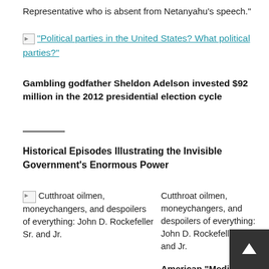Representative who is absent from Netanyahu’s speech.”
“Political parties in the United States? What political parties?”
Gambling godfather Sheldon Adelson invested $92 million in the 2012 presidential election cycle
Historical Episodes Illustrating the Invisible Government’s Enormous Power
[Figure (illustration): Broken image icon for Cutthroat oilmen article]
Cutthroat oilmen, moneychangers, and despoilers of everything: John D. Rockefeller Sr. and Jr.
Cutthroat oilmen, moneychangers, and despoilers of everything: John D. Rockefeller Sr. and Jr.
American “Medicine:” Follow the Rockefelle